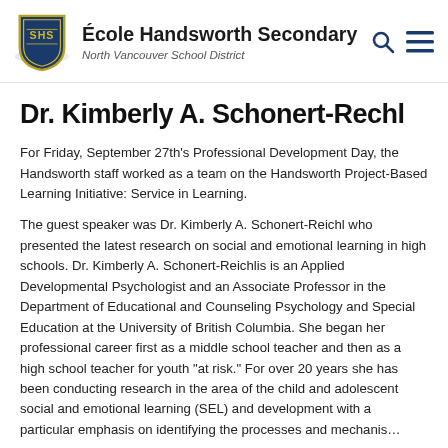École Handsworth Secondary — North Vancouver School District
Dr. Kimberly A. Schonert-Rechl
For Friday, September 27th's Professional Development Day, the Handsworth staff worked as a team on the Handsworth Project-Based Learning Initiative: Service in Learning.
The guest speaker was Dr. Kimberly A. Schonert-Reichl who presented the latest research on social and emotional learning in high schools. Dr. Kimberly A. Schonert-Reichlis is an Applied Developmental Psychologist and an Associate Professor in the Department of Educational and Counseling Psychology and Special Education at the University of British Columbia. She began her professional career first as a middle school teacher and then as a high school teacher for youth "at risk." For over 20 years she has been conducting research in the area of the child and adolescent social and emotional learning (SEL) and development with a particular emphasis on identifying the processes and mechanisms…